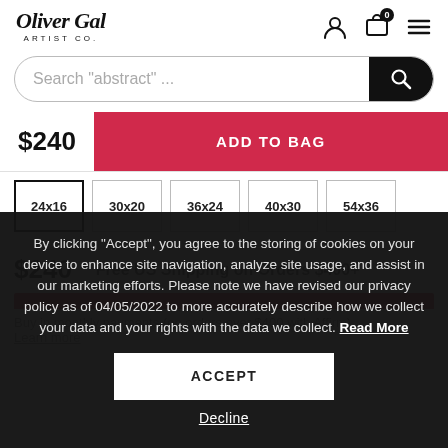Oliver Gal ARTIST co.
Search "abstract" ...
$240  ADD TO BAG
24x16  30x20  36x24  40x30  54x36
$240  Free US Shipping on Orders $400+
Buy in monthly payments (on orders over $400 with Affirm). Learn more
By clicking "Accept", you agree to the storing of cookies on your device to enhance site navigation, analyze site usage, and assist in our marketing efforts. Please note we have revised our privacy policy as of 04/05/2022 to more accurately describe how we collect your data and your rights with the data we collect. Read More
ACCEPT
Decline